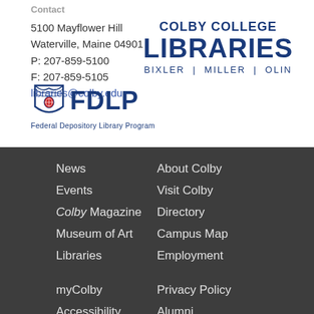Contact
5100 Mayflower Hill
Waterville, Maine 04901
P: 207-859-5100
F: 207-859-5105
libraries@colby.edu
[Figure (logo): FDLP - Federal Depository Library Program logo with shield icon]
[Figure (logo): Colby College Libraries logo - BIXLER | MILLER | OLIN]
News
Events
Colby Magazine
Museum of Art
Libraries
About Colby
Visit Colby
Directory
Campus Map
Employment
myColby
Accessibility Policy
DavisConnects
Privacy Policy
Alumni
Parents
Admissions